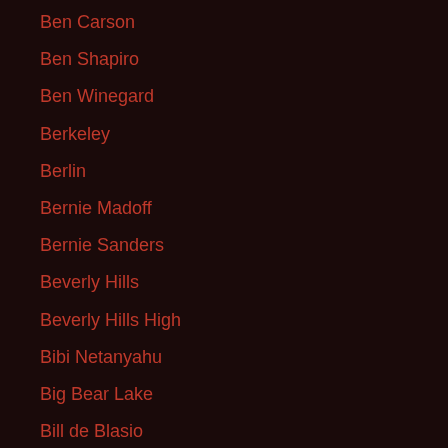Ben Carson
Ben Shapiro
Ben Winegard
Berkeley
Berlin
Bernie Madoff
Bernie Sanders
Beverly Hills
Beverly Hills High
Bibi Netanyahu
Big Bear Lake
Bill de Blasio
Bill Kaufman
Bill O'reilly
Bimbo Ubermensch